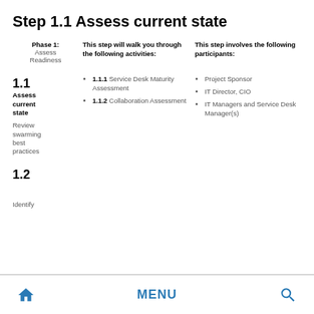Step 1.1 Assess current state
|  | This step will walk you through the following activities: | This step involves the following participants: |
| --- | --- | --- |
| Phase 1: Assess Readiness | 1.1.1 Service Desk Maturity Assessment
1.1.2 Collaboration Assessment | Project Sponsor
IT Director, CIO
IT Managers and Service Desk Manager(s) |
| 1.1 Assess current state |  |  |
| 1.2 Review swarming best practices |  |  |
| Identify |  |  |
MENU